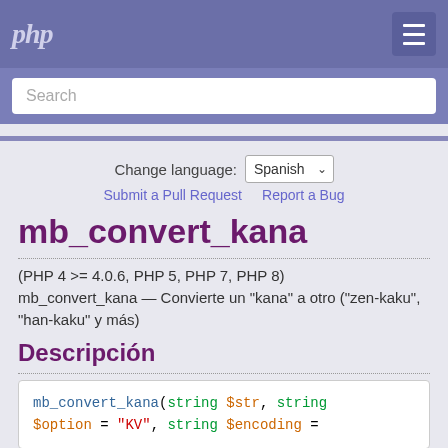php
Search
Change language: Spanish
Submit a Pull Request   Report a Bug
mb_convert_kana
(PHP 4 >= 4.0.6, PHP 5, PHP 7, PHP 8)
mb_convert_kana — Convierte un "kana" a otro ("zen-kaku", "han-kaku" y más)
Descripción
mb_convert_kana(string $str, string $option = "KV", string $encoding =